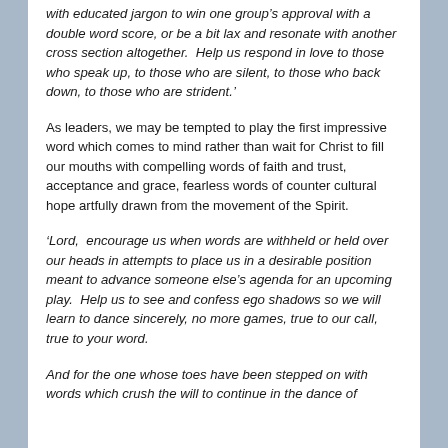with educated jargon to win one group's approval with a double word score, or be a bit lax and resonate with another cross section altogether.  Help us respond in love to those who speak up, to those who are silent, to those who back down, to those who are strident.'
As leaders, we may be tempted to play the first impressive word which comes to mind rather than wait for Christ to fill our mouths with compelling words of faith and trust, acceptance and grace, fearless words of counter cultural hope artfully drawn from the movement of the Spirit.
'Lord,  encourage us when words are withheld or held over our heads in attempts to place us in a desirable position meant to advance someone else's agenda for an upcoming play.  Help us to see and confess ego shadows so we will learn to dance sincerely, no more games, true to our call, true to your word.
And for the one whose toes have been stepped on with words which crush the will to continue in the dance of